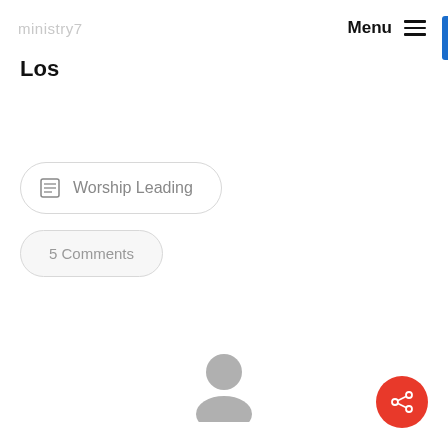ministry7   Menu ☰
Los
Worship Leading
5 Comments
[Figure (illustration): Gray user avatar silhouette icon at the bottom center of the page]
[Figure (other): Red circular share button with share icon at the bottom right]